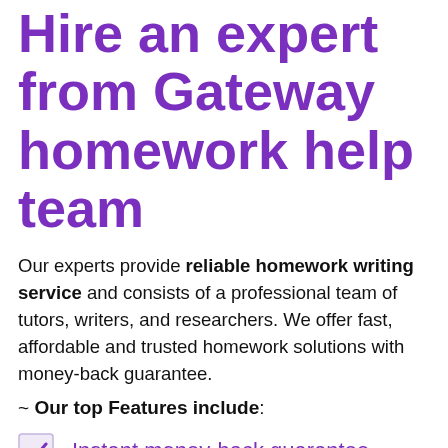Hire an expert from Gateway homework help team
Our experts provide reliable homework writing service and consists of a professional team of tutors, writers, and researchers. We offer fast, affordable and trusted homework solutions with money-back guarantee.
~ Our top Features include:
Instant money-back guarantee
Free consultation